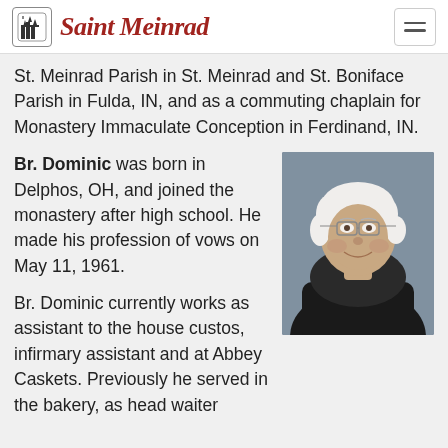Saint Meinrad
St. Meinrad Parish in St. Meinrad and St. Boniface Parish in Fulda, IN, and as a commuting chaplain for Monastery Immaculate Conception in Ferdinand, IN.
Br. Dominic was born in Delphos, OH, and joined the monastery after high school. He made his profession of vows on May 11, 1961.
[Figure (photo): Portrait photo of Br. Dominic, an elderly man with white hair wearing glasses and a dark monastic habit, smiling slightly against a gray background.]
Br. Dominic currently works as assistant to the house custos, infirmary assistant and at Abbey Caskets. Previously he served in the bakery, as head waiter